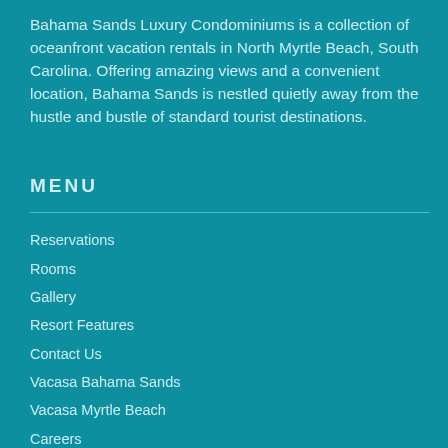Bahama Sands Luxury Condominiums is a collection of oceanfront vacation rentals in North Myrtle Beach, South Carolina. Offering amazing views and a convenient location, Bahama Sands is nestled quietly away from the hustle and bustle of standard tourist destinations.
MENU
Reservations
Rooms
Gallery
Resort Features
Contact Us
Vacasa Bahama Sands
Vacasa Myrtle Beach
Careers
Owner Hub
Resort Policies